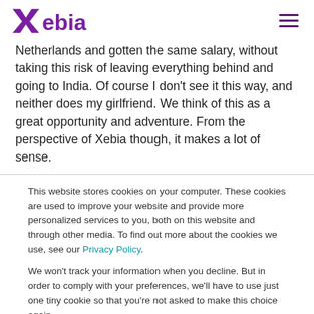Xebia
Netherlands and gotten the same salary, without taking this risk of leaving everything behind and going to India. Of course I don't see it this way, and neither does my girlfriend. We think of this as a great opportunity and adventure. From the perspective of Xebia though, it makes a lot of sense.
This website stores cookies on your computer. These cookies are used to improve your website and provide more personalized services to you, both on this website and through other media. To find out more about the cookies we use, see our Privacy Policy.
We won't track your information when you decline. But in order to comply with your preferences, we'll have to use just one tiny cookie so that you're not asked to make this choice again.